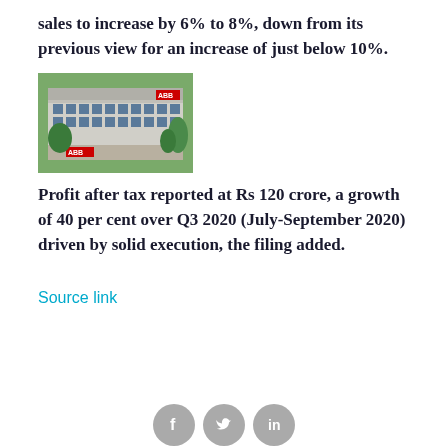sales to increase by 6% to 8%, down from its previous view for an increase of just below 10%.
[Figure (photo): Exterior photograph of an ABB building with trees and signage visible]
Profit after tax reported at Rs 120 crore, a growth of 40 per cent over Q3 2020 (July-September 2020) driven by solid execution, the filing added.
Source link
[Figure (infographic): Social media sharing icons: Facebook, Twitter, LinkedIn]